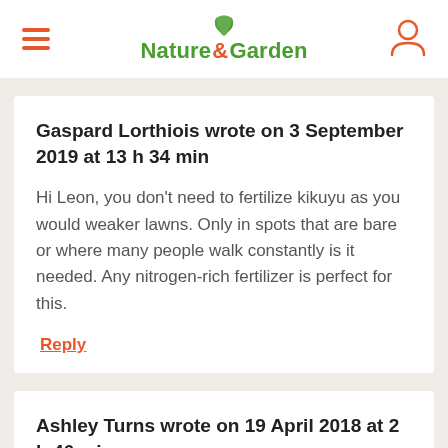Nature & Garden
Gaspard Lorthiois wrote on 3 September 2019 at 13 h 34 min
Hi Leon, you don't need to fertilize kikuyu as you would weaker lawns. Only in spots that are bare or where many people walk constantly is it needed. Any nitrogen-rich fertilizer is perfect for this.
Reply
Ashley Turns wrote on 19 April 2018 at 2 h 46 min